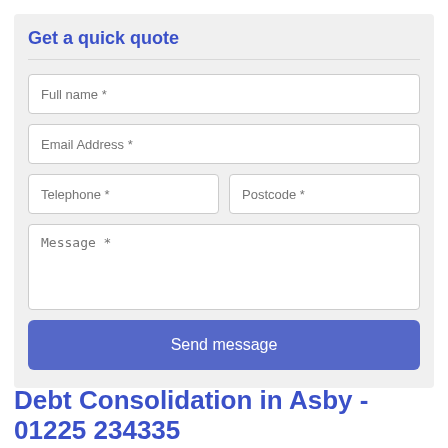Get a quick quote
Full name *
Email Address *
Telephone *
Postcode *
Message *
Send message
Debt Consolidation in Asby -